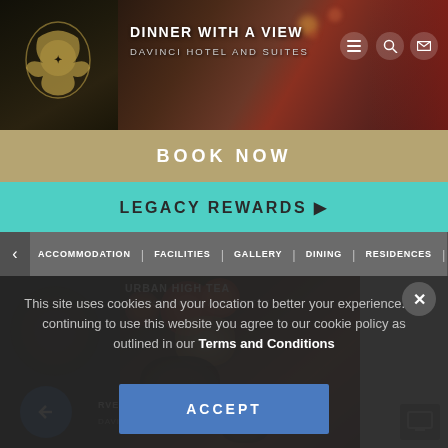[Figure (photo): Hotel website header screenshot showing a dark atmospheric dining photo with 'DINNER WITH A VIEW' text overlay and 'DAVINCI HOTEL AND SUITES' branding, along with navigation icons (email, search, hamburger menu)]
BOOK NOW
LEGACY REWARDS ▶
ACCOMMODATION | FACILITIES | GALLERY | DINING | RESIDENCES |
[Figure (screenshot): Hotel website content area showing 'URBAN HIGH TEA - DAVINCI HOTEL AND SUITES' promotion card partially visible, with another partially visible promotion below]
URBAN HIGH TEA
DAVINCI HOTEL AND SUITES
This site uses cookies and your location to better your experience. By continuing to use this website you agree to our cookie policy as outlined in our Terms and Conditions
ACCEPT
RVESTIG...
DAVINCI H...